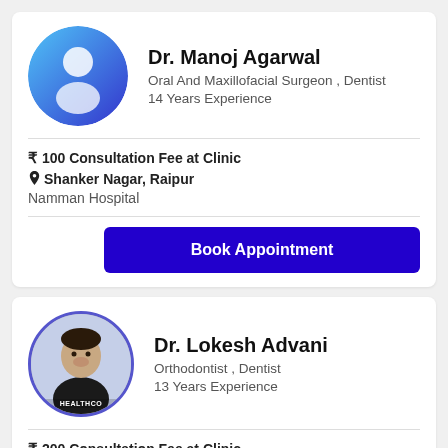[Figure (illustration): Doctor profile avatar with gradient blue circle and white person silhouette icon]
Dr. Manoj Agarwal
Oral And Maxillofacial Surgeon , Dentist
14 Years Experience
₹ 100 Consultation Fee at Clinic
Shanker Nagar, Raipur
Namman Hospital
Book Appointment
[Figure (photo): Photo of Dr. Lokesh Advani, a smiling man in dark clothing, with HEALTHCO watermark at bottom]
Dr. Lokesh Advani
Orthodontist , Dentist
13 Years Experience
₹ 200 Consultation Fee at Clinic
Mowa, Raipur